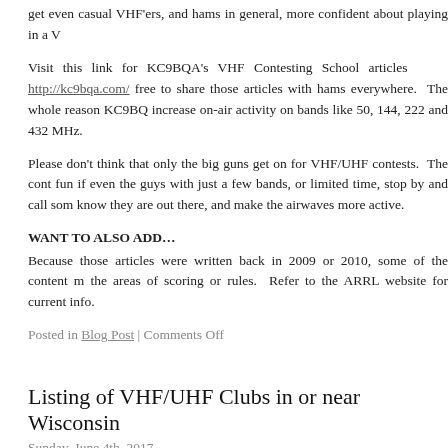get even casual VHF'ers, and hams in general, more confident about playing in a V
Visit this link for KC9BQA's VHF Contesting School articles    http://kc9bqa.com/ free to share those articles with hams everywhere.  The whole reason KC9BQ increase on-air activity on bands like 50, 144, 222 and 432 MHz.
Please don't think that only the big guns get on for VHF/UHF contests.  The cont fun if even the guys with just a few bands, or limited time, stop by and call som know they are out there, and make the airwaves more active.
WANT TO ALSO ADD…
Because those articles were written back in 2009 or 2010, some of the content m the areas of scoring or rules.  Refer to the ARRL website for current info.
Posted in Blog Post | Comments Off
Listing of VHF/UHF Clubs in or near Wisconsin
Sunday, June 4th, 2017
1:35pm Sunday
This is the first of several posts today.  I periodically repost this info when a VHF/U
With the 2017 summer VHF contest season starting (ARRL VHF on June 10-11), for readers to join one of the regional VHF/UHF contest clubs, if you haven't alrea
As of late 2016, I know of 5 VHF/UHF clubs in and near WI.  When I say "VHF/UH about clubs where the emphasis is on SSB/CW/Digital modes on bands like 50, 1 also contests in areas and bands like 222, 1296, 2304, 3456 MHz and above, it is